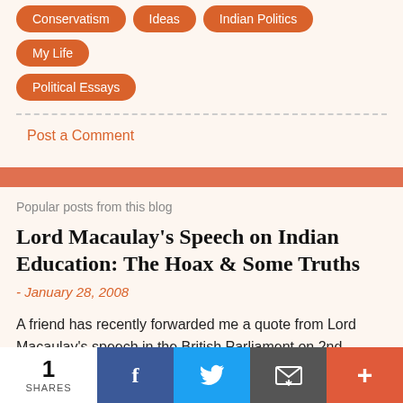Conservatism
Ideas
Indian Politics
My Life
Political Essays
Post a Comment
Popular posts from this blog
Lord Macaulay's Speech on Indian Education: The Hoax & Some Truths
- January 28, 2008
A friend has recently forwarded me a quote from Lord Macaulay's speech in the British Parliament on 2nd February 1835. I reproduce the quote below: "I have traveled across ...
1 SHARES | Facebook | Twitter | Email | +